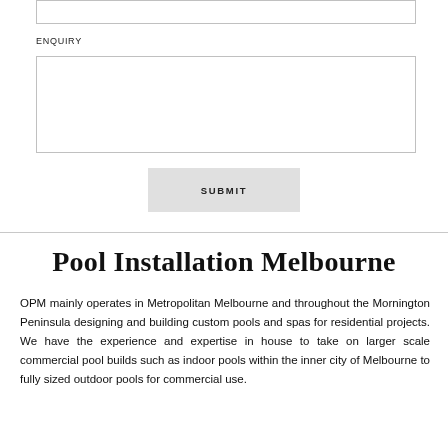[input field]
ENQUIRY
[textarea field]
SUBMIT
Pool Installation Melbourne
OPM mainly operates in Metropolitan Melbourne and throughout the Mornington Peninsula designing and building custom pools and spas for residential projects. We have the experience and expertise in house to take on larger scale commercial pool builds such as indoor pools within the inner city of Melbourne to fully sized outdoor pools for commercial use.